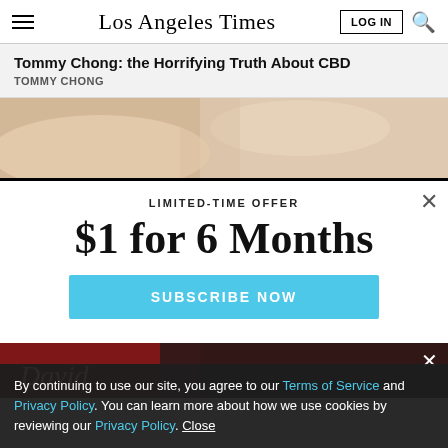Los Angeles Times
Tommy Chong: the Horrifying Truth About CBD
TOMMY CHONG
[Figure (photo): Close-up photo showing hands or skin on a light wooden surface, blurred background]
LIMITED-TIME OFFER
$1 for 6 Months
SUBSCRIBE NOW
By continuing to use our site, you agree to our Terms of Service and Privacy Policy. You can learn more about how we use cookies by reviewing our Privacy Policy. Close
[Figure (photo): Dark red/maroon background with partial text 'David' in white/light italic font]